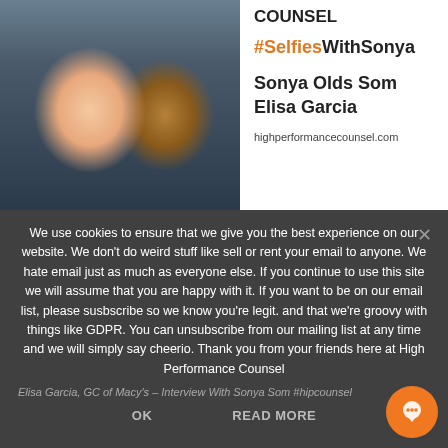[Figure (photo): Two women smiling closely together for a selfie-style photo. One woman has glasses with red frames and lighter skin, the other has darker skin. Photo occupies the left side of the top section.]
COUNSEL
#SelfiesWithSonya
Sonya Olds Som
Elisa Garcia
highperformancecounsel.com
We use cookies to ensure that we give you the best experience on our website. We don't do weird stuff like sell or rent your email to anyone. We hate email just as much as everyone else. If you continue to use this site we will assume that you are happy with it. If you want to be on our email list, please susbscribe so we know you're legit. and that we're groovy with things like GDPR. You can unsubscribe from our mailing list at any time and we will simply say cheerio. Thank you from your friends here at High Performance Counsel
Elisa Garcia, GC of Macy's – Interview With Sonya Som #hipcounsel
OK
READ MORE